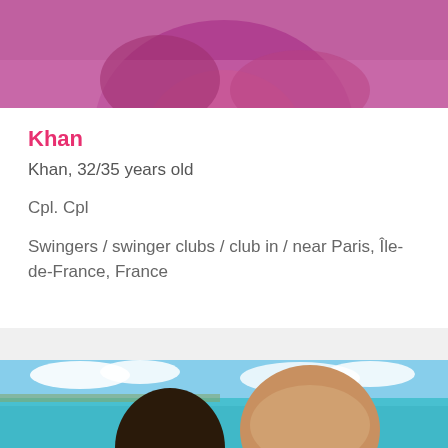[Figure (photo): Top portion of a photo showing a person with pink/magenta hair or clothing, cropped at the face area]
Khan
Khan, 32/35 years old
Cpl. Cpl
Swingers / swinger clubs / club in / near Paris, Île-de-France, France
[Figure (photo): Bottom photo showing two people taking a selfie near turquoise water with blue sky and clouds in the background]